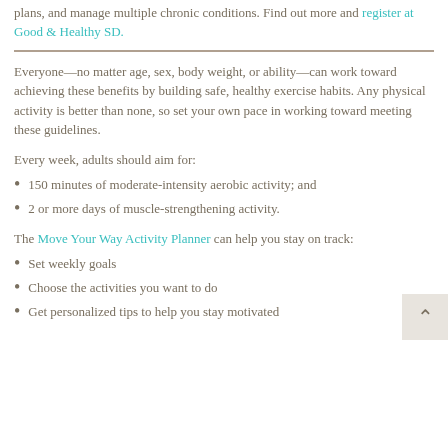plans, and manage multiple chronic conditions. Find out more and register at Good & Healthy SD.
Everyone—no matter age, sex, body weight, or ability—can work toward achieving these benefits by building safe, healthy exercise habits. Any physical activity is better than none, so set your own pace in working toward meeting these guidelines.
Every week, adults should aim for:
150 minutes of moderate-intensity aerobic activity; and
2 or more days of muscle-strengthening activity.
The Move Your Way Activity Planner can help you stay on track:
Set weekly goals
Choose the activities you want to do
Get personalized tips to help you stay motivated